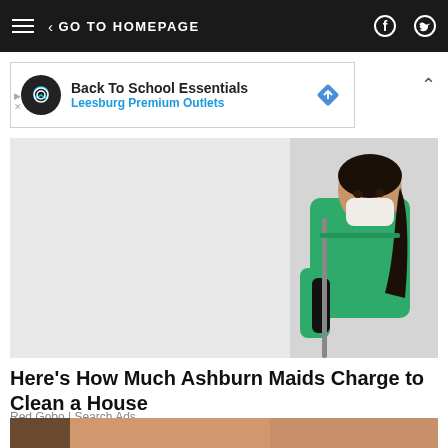GO TO HOMEPAGE
[Figure (photo): Advertisement banner: Back To School Essentials - Leesburg Premium Outlets]
[Figure (photo): A woman in green scrubs and a white medical mask holding a mop handle against a white wall]
Here's How Much Ashburn Maids Charge to Clean a House
Red Gobo | Search Ads
[Figure (photo): Close-up partial photo of a woman's face showing nose and lips]